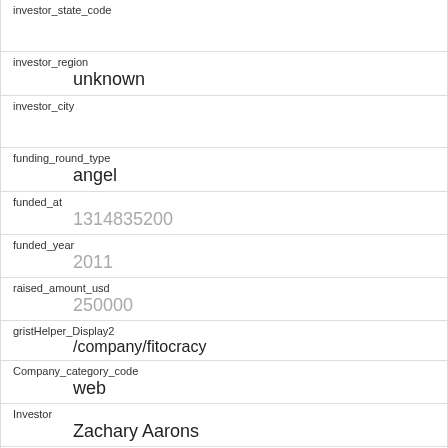investor_state_code
investor_region
unknown
investor_city
funding_round_type
angel
funded_at
1314835200
funded_year
2011
raised_amount_usd
250000
gristHelper_Display2
/company/fitocracy
Company_category_code
web
Investor
Zachary Aarons